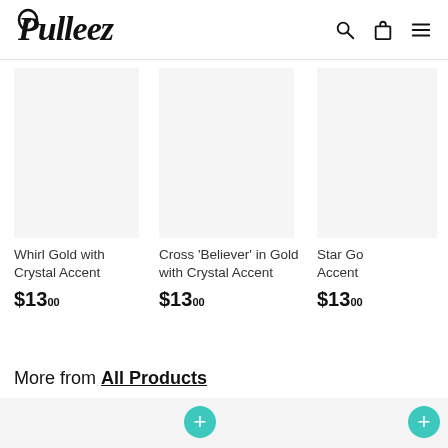Pulleez
Whirl Gold with Crystal Accent $13.00
Cross 'Believer' in Gold with Crystal Accent $13.00
Star Go... Accent $13.00
More from All Products